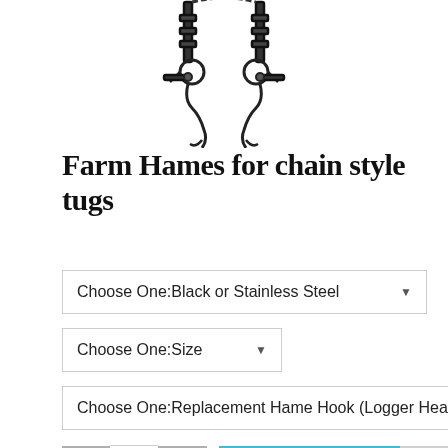[Figure (photo): Product photo of Farm Hames for chain style tugs — black metal hardware with rings and chain connectors, shown as a pair, viewed from above on white background.]
Farm Hames for chain style tugs
Choose One:Black or Stainless Steel
Choose One:Size
Choose One:Replacement Hame Hook (Logger Head)
1
Add to Cart